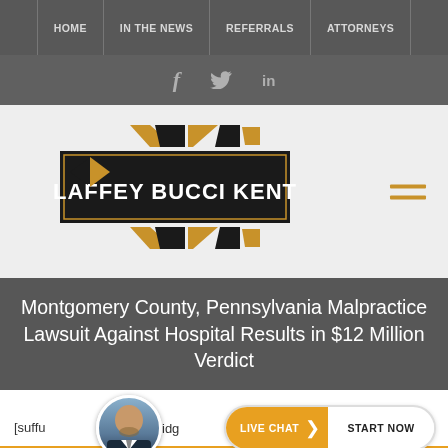HOME | IN THE NEWS | REFERRALS | ATTORNEYS
[Figure (logo): Social media icons: f (Facebook), bird (Twitter), in (LinkedIn) on dark gray bar]
[Figure (logo): Laffey Bucci Kent law firm logo with gold geometric diamond/arrow shapes and black rectangle with firm name]
Montgomery County, Pennsylvania Malpractice Lawsuit Against Hospital Results in $12 Million Verdict
[suffu...idg...
[Figure (photo): Circular avatar photo of a bald man with beard wearing suit and tie]
[Figure (other): Live Chat button: orange section says LIVE CHAT with arrow, white section says START NOW]